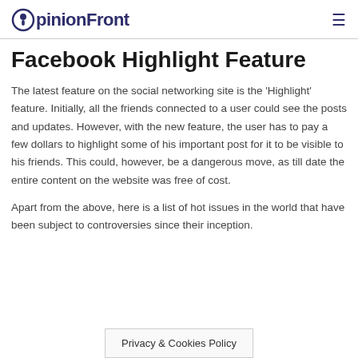OpinionFront
Facebook Highlight Feature
The latest feature on the social networking site is the 'Highlight' feature. Initially, all the friends connected to a user could see the posts and updates. However, with the new feature, the user has to pay a few dollars to highlight some of his important post for it to be visible to his friends. This could, however, be a dangerous move, as till date the entire content on the website was free of cost.
Apart from the above, here is a list of hot issues in the world that have been subject to controversies since their inception.
Privacy & Cookies Policy